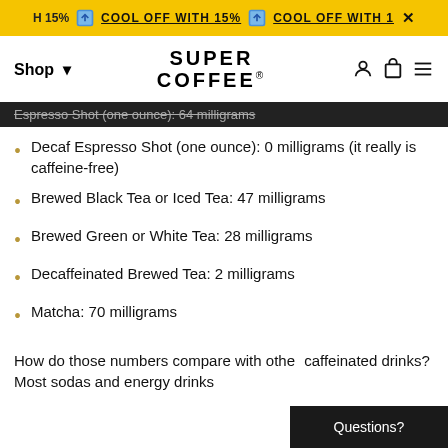COOL OFF WITH 15%
Shop | SUPER COFFEE
Espresso Shot (one ounce): 64 milligrams
Decaf Espresso Shot (one ounce): 0 milligrams (it really is caffeine-free)
Brewed Black Tea or Iced Tea: 47 milligrams
Brewed Green or White Tea: 28 milligrams
Decaffeinated Brewed Tea: 2 milligrams
Matcha: 70 milligrams
How do those numbers compare with other caffeinated drinks? Most sodas and energy drinks